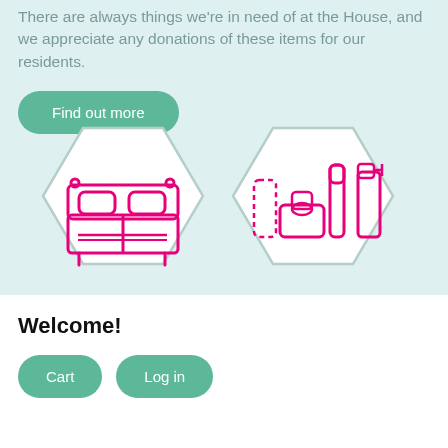There are always things we're in need of at the House, and we appreciate any donations of these items for our residents.
Find out more
[Figure (illustration): Two hexagon icons: left hexagon contains a pink/magenta line-art icon of a double bed; right hexagon contains a pink/magenta line-art icon of toiletry/hygiene products (spray bottle, soap dispenser, tube).]
Welcome!
Cart
Log in